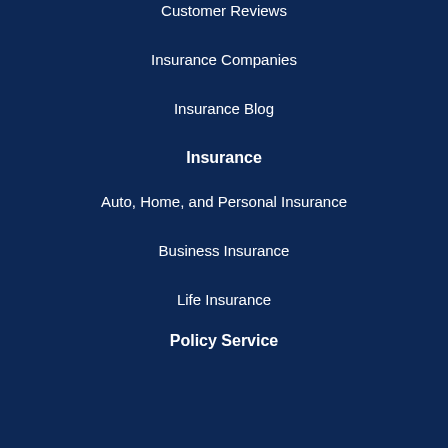Customer Reviews
Insurance Companies
Insurance Blog
Insurance
Auto, Home, and Personal Insurance
Business Insurance
Life Insurance
Policy Service